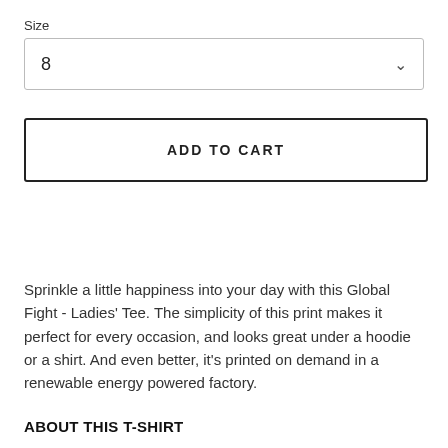Size
8
ADD TO CART
Sprinkle a little happiness into your day with this Global Fight - Ladies' Tee. The simplicity of this print makes it perfect for every occasion, and looks great under a hoodie or a shirt. And even better, it's printed on demand in a renewable energy powered factory.
ABOUT THIS T-SHIRT